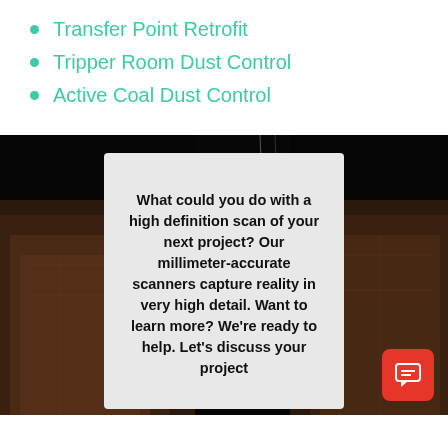Transfer Point Retrofit
Tripper Room Dust Control
Active Coal Dust Control
[Figure (photo): Nighttime industrial facility photo showing large dark structures, used as background behind an overlay card with text about high definition scanning services.]
What could you do with a high definition scan of your next project? Our millimeter-accurate scanners capture reality in very high detail. Want to learn more? We’re ready to help. Let’s discuss your project